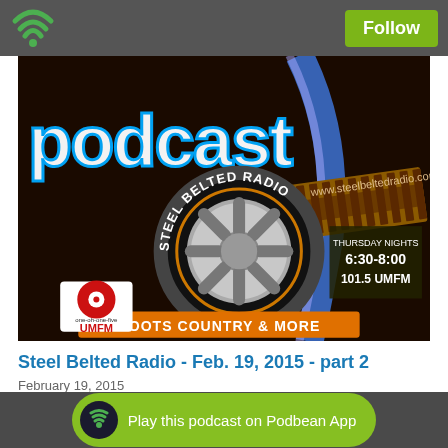Follow
[Figure (photo): Steel Belted Radio podcast artwork showing a car tire with 'STEEL BELTED RADIO' text, 'ROOTS COUNTRY & MORE' tagline, UMFM logo, 'THURSDAY NIGHTS 6:30-8:00 101.5 UMFM', www.steelbeltedradio.com, on a dark background with 'podcast' text in blue and orange]
Steel Belted Radio - Feb. 19, 2015 - part 2
February 19, 2015
playlist
Play this podcast on Podbean App